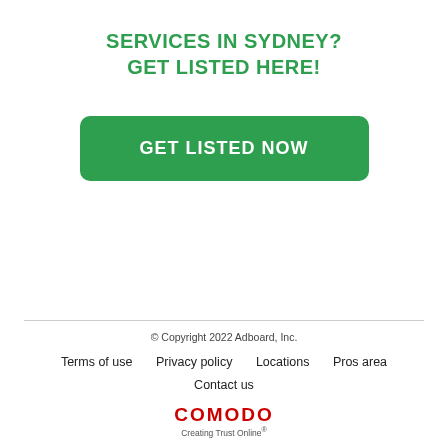SERVICES IN SYDNEY?
GET LISTED HERE!
[Figure (other): Green rounded rectangle button with white bold text reading GET LISTED NOW]
© Copyright 2022 Adboard, Inc.
Terms of use   Privacy policy   Locations   Pros area
Contact us
COMODO Creating Trust Online®